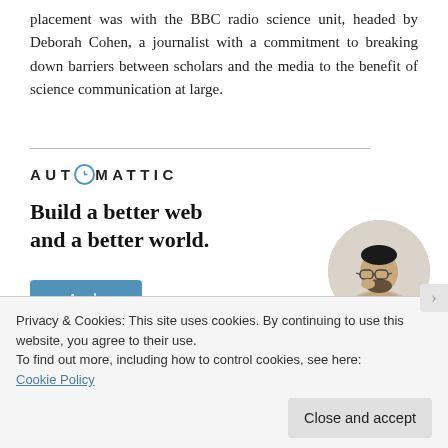placement was with the BBC radio science unit, headed by Deborah Cohen, a journalist with a commitment to breaking down barriers between scholars and the media to the benefit of science communication at large.
[Figure (logo): Automattic logo with stylized compass/clock icon replacing the O, all caps bold letters with wide letter-spacing]
[Figure (illustration): Advertisement for Automattic: 'Build a better web and a better world.' with an Apply button and a circular photo of a man thinking]
Privacy & Cookies: This site uses cookies. By continuing to use this website, you agree to their use.
To find out more, including how to control cookies, see here: Cookie Policy
Close and accept